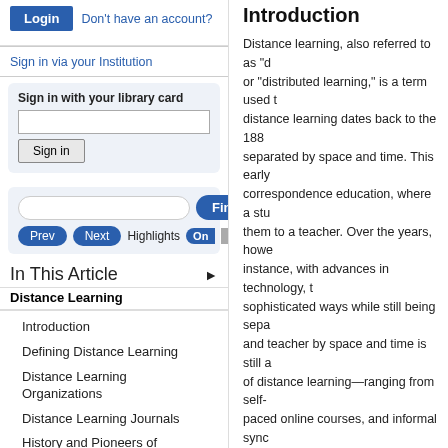Login  Don't have an account?
Sign in via your Institution
Sign in with your library card
Sign in
In This Article
Distance Learning
Introduction
Defining Distance Learning
Distance Learning Organizations
Distance Learning Journals
History and Pioneers of Distance Learning
Introduction
Distance learning, also referred to as "d or "distributed learning," is a term used t distance learning dates back to the 188 separated by space and time. This early correspondence education, where a stu them to a teacher. Over the years, howe instance, with advances in technology, t sophisticated ways while still being sepa and teacher by space and time is still a of distance learning—ranging from self- paced online courses, and informal sync Kahn Academy), to name a few. From it skeptical of whether one can learn effec grow. In the 21st century, asynchronous distance learning and many estimate tha each year; however, there are also grow learning that leverages some aspect of continues to blur the lines between "dist sections will focus on distance learning most popular form of distance learning)
Defining Distance Learning